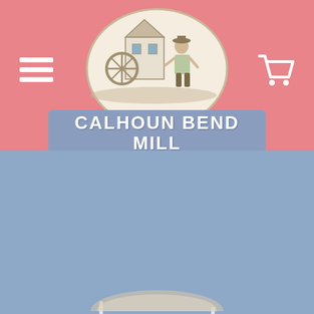[Figure (logo): Calhoun Bend Mill website header screenshot showing a pink top section with hamburger menu, cart icon, and oval logo illustration of a mill building with a figure, along with a blue-gray ribbon banner reading CALHOUN BEND MILL Established in 1988, and a blue-gray lower section with a partial circular badge showing the word Food and a large white italic script slogan reading Like Mom's Cooking!]